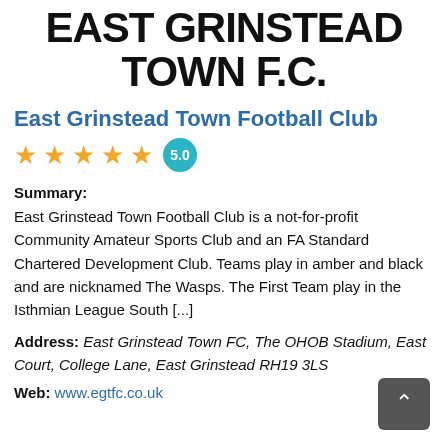EAST GRINSTEAD TOWN F.C.
East Grinstead Town Football Club
[Figure (other): Five gold stars rating with teal badge showing 5.0]
Summary: East Grinstead Town Football Club is a not-for-profit Community Amateur Sports Club and an FA Standard Chartered Development Club. Teams play in amber and black and are nicknamed The Wasps. The First Team play in the Isthmian League South [...]
Address: East Grinstead Town FC, The OHOB Stadium, East Court, College Lane, East Grinstead RH19 3LS
Web: www.egtfc.co.uk